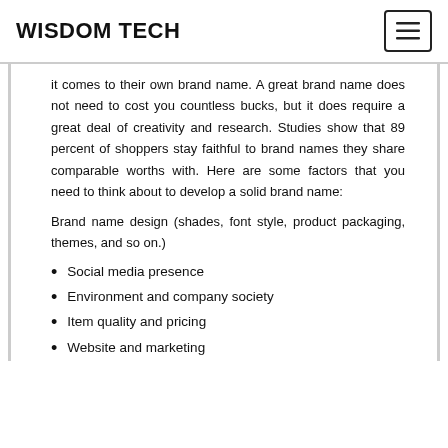WISDOM TECH
it comes to their own brand name. A great brand name does not need to cost you countless bucks, but it does require a great deal of creativity and research. Studies show that 89 percent of shoppers stay faithful to brand names they share comparable worths with. Here are some factors that you need to think about to develop a solid brand name:
Brand name design (shades, font style, product packaging, themes, and so on.)
Social media presence
Environment and company society
Item quality and pricing
Website and marketing